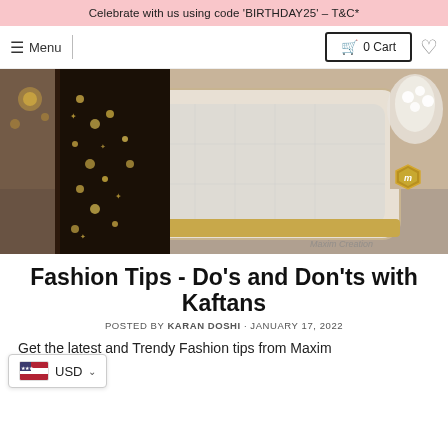Celebrate with us using code 'BIRTHDAY25' – T&C*
Menu | 0 Cart
[Figure (photo): Hero image of a black kaftan with gold embroidery displayed against a luxurious white and gold interior backdrop. Maxim Creation logo visible in lower right.]
Fashion Tips - Do's and Don'ts with Kaftans
POSTED BY KARAN DOSHI · JANUARY 17, 2022
Get the latest and Trendy Fashion tips from Maxim